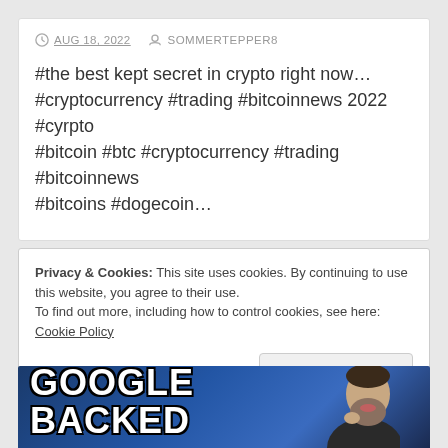AUG 18, 2022  SOMMERTEPPER8
#the best kept secret in crypto right now… #cryptocurrency #trading #bitcoinnews 2022 #cyrpto #bitcoin #btc #cryptocurrency #trading #bitcoinnews #bitcoins #dogecoin…
Privacy & Cookies: This site uses cookies. By continuing to use this website, you agree to their use.
To find out more, including how to control cookies, see here: Cookie Policy
[Figure (screenshot): Bottom portion of a webpage showing the text GOOGLE BACKED in large bold white letters with black outline over a dark blue background, with a person in the right side appearing to be thinking with hand near chin.]